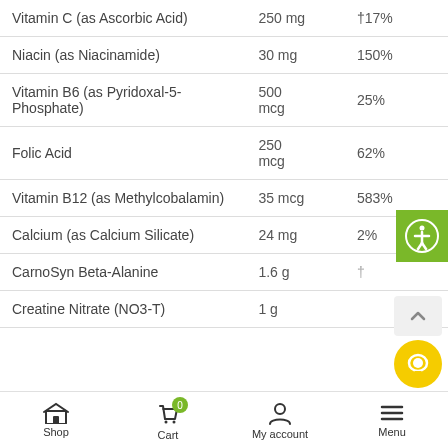| Ingredient | Amount | %DV |
| --- | --- | --- |
| Vitamin C (as Ascorbic Acid) | 250 mg | †17% |
| Niacin (as Niacinamide) | 30 mg | 150% |
| Vitamin B6 (as Pyridoxal-5-Phosphate) | 500 mcg | 25% |
| Folic Acid | 250 mcg | 62% |
| Vitamin B12 (as Methylcobalamin) | 35 mcg | 583% |
| Calcium (as Calcium Silicate) | 24 mg | 2% |
| CarnoSyn Beta-Alanine | 1.6 g | † |
| Creatine Nitrate (NO3-T) | 1 g |  |
Shop  Cart 0  My account  Menu